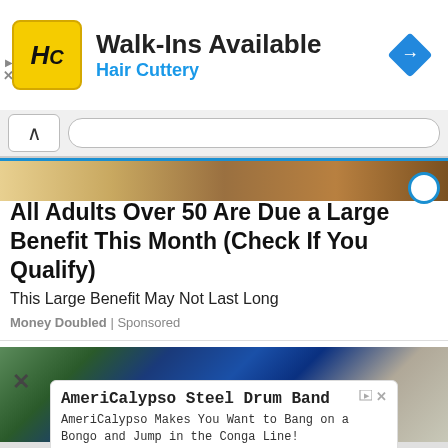[Figure (infographic): Hair Cuttery advertisement banner with yellow HC logo, text 'Walk-Ins Available' and 'Hair Cuttery' in blue, and a blue navigation diamond icon]
[Figure (screenshot): Browser navigation bar with chevron up button and URL bar]
[Figure (photo): Partial image strip at top of article showing money/financial imagery in warm brown tones]
All Adults Over 50 Are Due a Large Benefit This Month (Check If You Qualify)
This Large Benefit May Not Last Long
Money Doubled | Sponsored
[Figure (photo): Outdoor scene with large blue spherical sculpture, green foliage and stone wall]
[Figure (infographic): AmeriCalypso Steel Drum Band advertisement with title, description text, brand name and Open button]